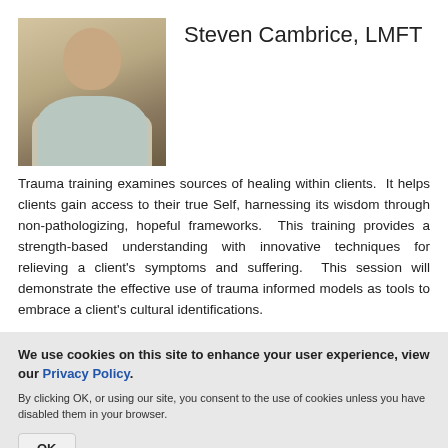[Figure (photo): Headshot photo of Steven Cambrice, a man wearing a light sweater and collared shirt]
Steven Cambrice, LMFT
Trauma training examines sources of healing within clients.  It helps clients gain access to their true Self, harnessing its wisdom through non-pathologizing, hopeful frameworks.  This training provides a strength-based understanding with innovative techniques for relieving a client's symptoms and suffering.  This session will demonstrate the effective use of trauma informed models as tools to embrace a client's cultural identifications.
We use cookies on this site to enhance your user experience, view our Privacy Policy.
By clicking OK, or using our site, you consent to the use of cookies unless you have disabled them in your browser.